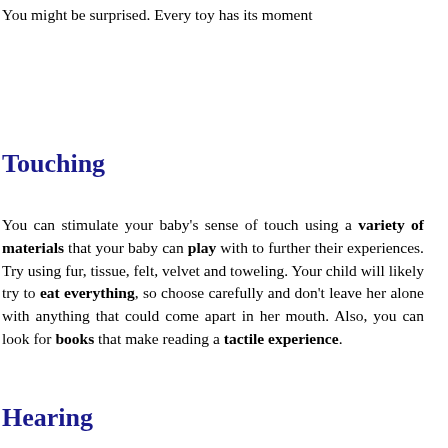You might be surprised. Every toy has its moment
Touching
You can stimulate your baby's sense of touch using a variety of materials that your baby can play with to further their experiences. Try using fur, tissue, felt, velvet and toweling. Your child will likely try to eat everything, so choose carefully and don't leave her alone with anything that could come apart in her mouth. Also, you can look for books that make reading a tactile experience.
Hearing